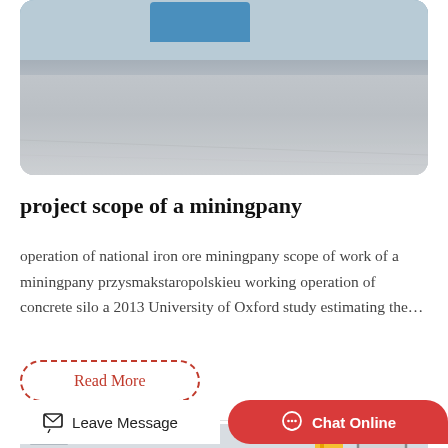[Figure (photo): Outdoor industrial/mining area with a blue vehicle or container in the background, concrete or asphalt surface in foreground, grey sky.]
project scope of a miningpany
operation of national iron ore miningpany scope of work of a miningpany przysmakstaropolskieu working operation of concrete silo a 2013 University of Oxford study estimating the…
Read More
[Figure (photo): Industrial building with structural lines and a yellow crane or beam element, partially visible, with an arrow sign box on the right.]
Leave Message
Chat Online